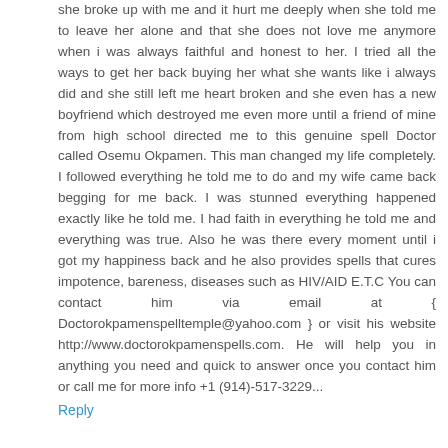she broke up with me and it hurt me deeply when she told me to leave her alone and that she does not love me anymore when i was always faithful and honest to her. I tried all the ways to get her back buying her what she wants like i always did and she still left me heart broken and she even has a new boyfriend which destroyed me even more until a friend of mine from high school directed me to this genuine spell Doctor called Osemu Okpamen. This man changed my life completely. I followed everything he told me to do and my wife came back begging for me back. I was stunned everything happened exactly like he told me. I had faith in everything he told me and everything was true. Also he was there every moment until i got my happiness back and he also provides spells that cures impotence, bareness, diseases such as HIV/AID E.T.C You can contact him via email at { Doctorokpamenspelltemple@yahoo.com } or visit his website http://www.doctorokpamenspells.com. He will help you in anything you need and quick to answer once you contact him or call me for more info +1 (914)-517-3229...
Reply